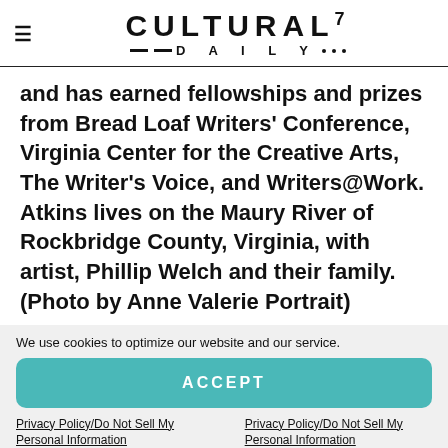CULTURAL⁷ —DAILY•••
and has earned fellowships and prizes from Bread Loaf Writers' Conference, Virginia Center for the Creative Arts, The Writer's Voice, and Writers@Work. Atkins lives on the Maury River of Rockbridge County, Virginia, with artist, Phillip Welch and their family. (Photo by Anne Valerie Portrait)
We use cookies to optimize our website and our service.
ACCEPT
Privacy Policy/Do Not Sell My Personal Information
Privacy Policy/Do Not Sell My Personal Information